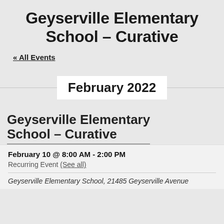Geyserville Elementary School – Curative
« All Events
February 2022
Geyserville Elementary School – Curative
February 10 @ 8:00 AM - 2:00 PM
Recurring Event (See all)
Geyserville Elementary School, 21485 Geyserville Avenue